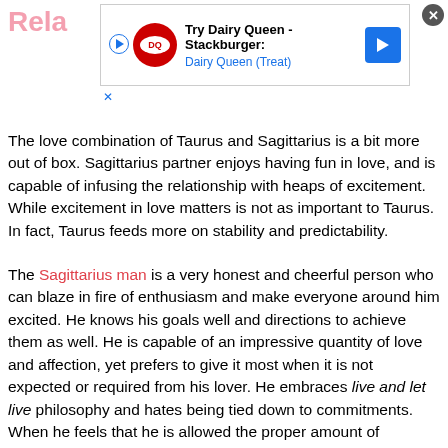Rela
[Figure (screenshot): Advertisement banner for Dairy Queen Stackburger with DQ logo, play button, navigation arrow, and close button.]
The love combination of Taurus and Sagittarius is a bit more out of box. Sagittarius partner enjoys having fun in love, and is capable of infusing the relationship with heaps of excitement. While excitement in love matters is not as important to Taurus. In fact, Taurus feeds more on stability and predictability.
The Sagittarius man is a very honest and cheerful person who can blaze in fire of enthusiasm and make everyone around him excited. He knows his goals well and directions to achieve them as well. He is capable of an impressive quantity of love and affection, yet prefers to give it most when it is not expected or required from his lover. He embraces live and let live philosophy and hates being tied down to commitments. When he feels that he is allowed the proper amount of independence and freedom, he proves to be a loyal and true companion.
A Taurus woman is an individual who is firmly grounded and always knows what she up to is. She is generous and